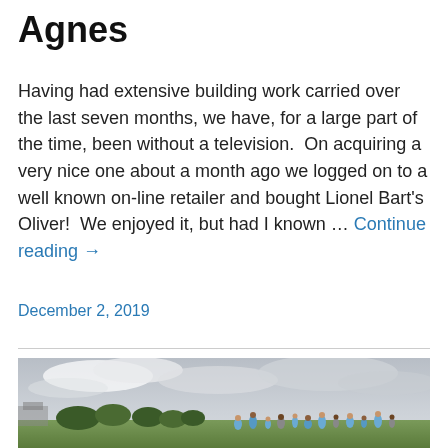Agnes
Having had extensive building work carried over the last seven months, we have, for a large part of the time, been without a television.  On acquiring a very nice one about a month ago we logged on to a well known on-line retailer and bought Lionel Bart's Oliver!  We enjoyed it, but had I known … Continue reading →
December 2, 2019
[Figure (photo): Outdoor photo showing a group of people gathered on a field or green space, with trees and a cloudy grey sky in the background. Some people appear to be wearing blue clothing.]